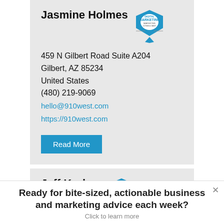Jasmine Holmes
459 N Gilbert Road Suite A204
Gilbert, AZ 85234
United States
(480) 219-9069
hello@910west.com
https://910west.com
Read More
Jeff Korhan
Ready for bite-sized, actionable business and marketing advice each week?
Click to learn more